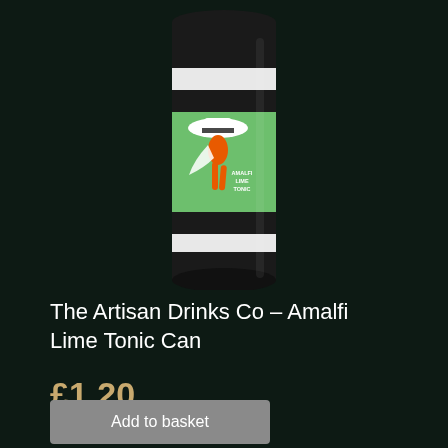[Figure (photo): A cylindrical can of Artisan Drinks Co Amalfi Lime Tonic. The can has black and white horizontal stripe bands at top and bottom, with a central green label featuring an illustrated woman in a wide-brimmed white hat and orange dress/swimsuit. Small text on the label reads 'AMALFI LIME TONIC'.]
The Artisan Drinks Co – Amalfi Lime Tonic Can
£1.20
Add to basket